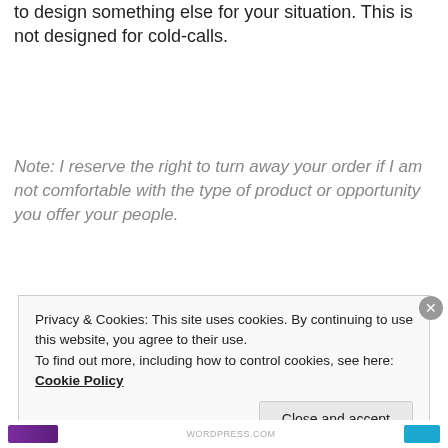to design something else for your situation. This is not designed for cold-calls.
Note: I reserve the right to turn away your order if I am not comfortable with the type of product or opportunity you offer your people.
Privacy & Cookies: This site uses cookies. By continuing to use this website, you agree to their use.
To find out more, including how to control cookies, see here: Cookie Policy
Close and accept